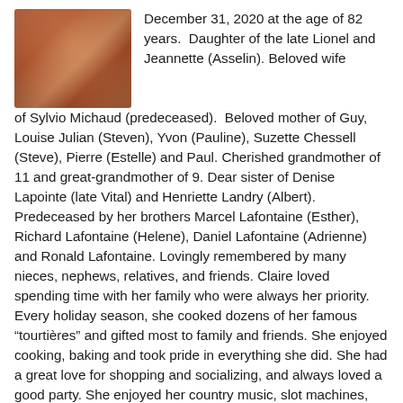[Figure (photo): Portrait photo of an elderly woman, partial view, wearing colorful clothing, top-left of page]
December 31, 2020 at the age of 82 years. Daughter of the late Lionel and Jeannette (Asselin). Beloved wife of Sylvio Michaud (predeceased). Beloved mother of Guy, Louise Julian (Steven), Yvon (Pauline), Suzette Chessell (Steve), Pierre (Estelle) and Paul. Cherished grandmother of 11 and great-grandmother of 9. Dear sister of Denise Lapointe (late Vital) and Henriette Landry (Albert). Predeceased by her brothers Marcel Lafontaine (Esther), Richard Lafontaine (Helene), Daniel Lafontaine (Adrienne) and Ronald Lafontaine. Lovingly remembered by many nieces, nephews, relatives, and friends. Claire loved spending time with her family who were always her priority. Every holiday season, she cooked dozens of her famous “tourtières” and gifted most to family and friends. She enjoyed cooking, baking and took pride in everything she did. She had a great love for shopping and socializing, and always loved a good party. She enjoyed her country music, slot machines, travelling and road trips. She will be forever in the hearts and memories of family and friends. All service details to be announced.